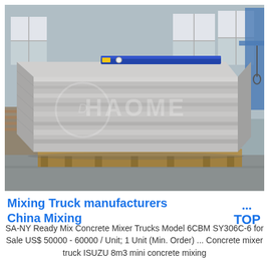[Figure (photo): A large rectangular metal block or mold (likely a concrete mixer drum or industrial equipment component) sitting on wooden pallets inside a factory/warehouse. The block has a watermark logo 'HAOME' and is metallic silver/grey. The factory background shows windows with natural light, structural beams, and other industrial equipment. There is a blue component visible on top of the block.]
Mixing Truck manufacturers China Mixing
SA-NY Ready Mix Concrete Mixer Trucks Model 6CBM SY306C-6 for Sale US$ 50000 - 60000 / Unit; 1 Unit (Min. Order) ... Concrete mixer truck ISUZU 8m3 mini concrete mixing